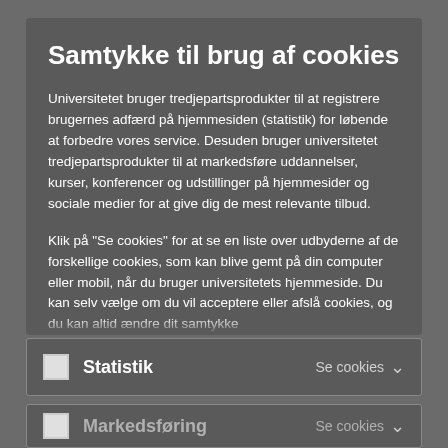Samtykke til brug af cookies
Universitetet bruger tredjepartsprodukter til at registrere brugernes adfærd på hjemmesiden (statistik) for løbende at forbedre vores service. Desuden bruger universitetet tredjepartsprodukter til at markedsføre uddannelser, kurser, konferencer og udstillinger på hjemmesider og sociale medier for at give dig de mest relevante tilbud.
Klik på "Se cookies" for at se en liste over udbyderne af de forskellige cookies, som kan blive gemt på din computer eller mobil, når du bruger universitetets hjemmeside. Du kan selv vælge om du vil acceptere eller afslå cookies, og du kan altid ændre dit samtykke
Statistik
Se cookies
Markedsføring
Se cookies